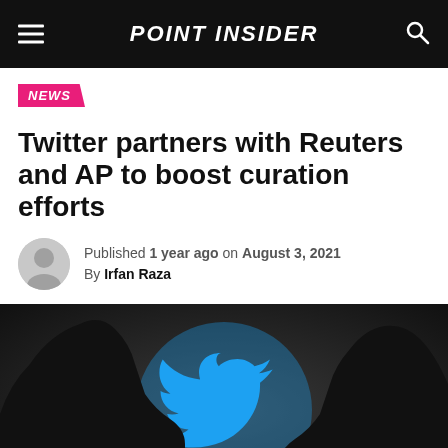POINT INSIDER
NEWS
Twitter partners with Reuters and AP to boost curation efforts
Published 1 year ago on August 3, 2021
By Irfan Raza
[Figure (photo): Two silhouetted people facing each other holding phones, with the Twitter bird logo glowing blue in the background between them]